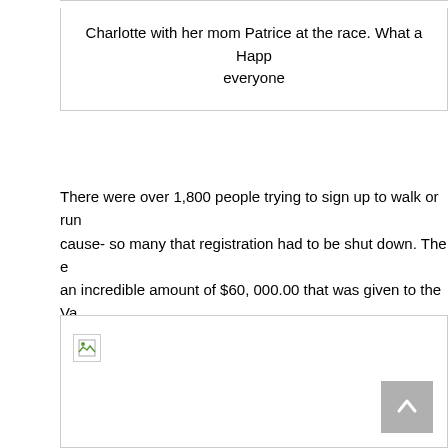Charlotte with her mom Patrice at the race. What a Happ everyone
There were over 1,800 people trying to sign up to walk or run cause- so many that registration had to be shut down. The e an incredible amount of $60,000.00 that was given to the Va Research Institute which is the leader in neuroblastoma rese
[Figure (photo): Photo placeholder with broken image icon in top left corner and a scroll-to-top button in the bottom right]